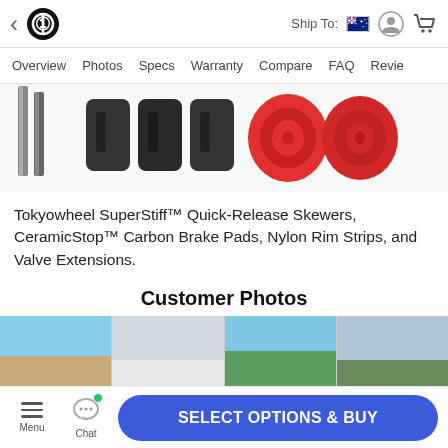< [logo] Ship To: [AU flag] [user icon] [cart icon]
Overview  Photos  Specs  Warranty  Compare  FAQ  Reviews
[Figure (photo): Product images: metal skewers (2 rods), black carbon brake pads (3 pads), and red nylon rim strips (2 rolled strips)]
Tokyowheel SuperStiff™ Quick-Release Skewers, CeramicStop™ Carbon Brake Pads, Nylon Rim Strips, and Valve Extensions.
Customer Photos
[Figure (photo): Four customer photos showing bicycles in various outdoor settings: beach, winter tree, mountain backdrop, and roadside]
Menu  Chat  SELECT OPTIONS & BUY